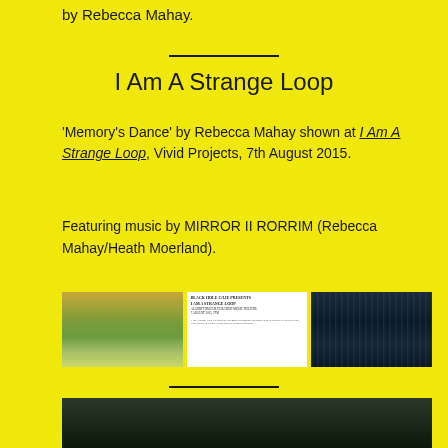by Rebecca Mahay.
I Am A Strange Loop
'Memory's Dance' by Rebecca Mahay shown at I Am A Strange Loop, Vivid Projects, 7th August 2015.
Featuring music by MIRROR II RORRIM (Rebecca Mahay/Heath Moerland).
[Figure (photo): Green and yellow abstract painting or textured artwork]
[Figure (screenshot): Text document/flyer for I Am A Strange Loop event]
[Figure (photo): Dark blue toned photograph with repetitive circular elements]